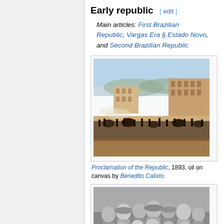Early republic [ edit ]
Main articles: First Brazilian Republic, Vargas Era § Estado Novo, and Second Brazilian Republic
[Figure (photo): Proclamation of the Republic, 1893, oil on canvas painting depicting a large crowd scene with horses and buildings]
Proclamation of the Republic, 1893, oil on canvas by Benedito Calixto
[Figure (photo): Black and white historical photograph of a group of men, some in military uniforms]